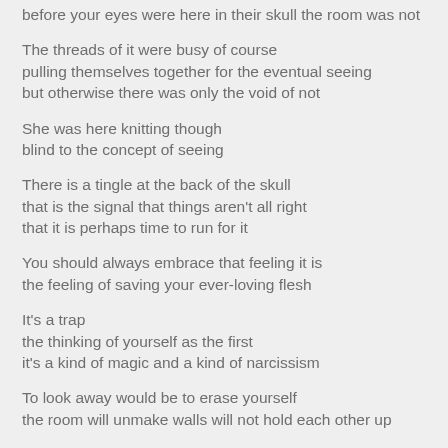before your eyes were here in their skull the room was not
The threads of it were busy of course
pulling themselves together for the eventual seeing
but otherwise there was only the void of not
She was here knitting though
blind to the concept of seeing
There is a tingle at the back of the skull
that is the signal that things aren't all right
that it is perhaps time to run for it
You should always embrace that feeling it is
the feeling of saving your ever-loving flesh
It's a trap
the thinking of yourself as the first
it's a kind of magic and a kind of narcissism
To look away would be to erase yourself
the room will unmake walls will not hold each other up